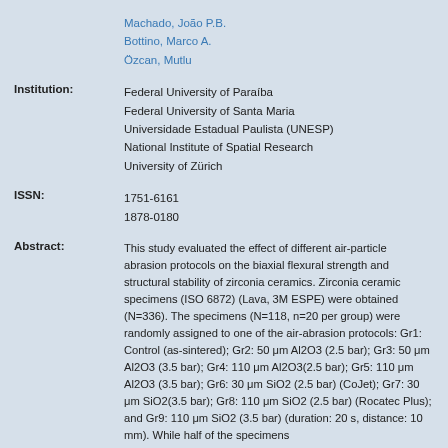Machado, João P.B.
Bottino, Marco A.
Özcan, Mutlu
Institution:
Federal University of Paraíba
Federal University of Santa Maria
Universidade Estadual Paulista (UNESP)
National Institute of Spatial Research
University of Zürich
ISSN:
1751-6161
1878-0180
Abstract:
This study evaluated the effect of different air-particle abrasion protocols on the biaxial flexural strength and structural stability of zirconia ceramics. Zirconia ceramic specimens (ISO 6872) (Lava, 3M ESPE) were obtained (N=336). The specimens (N=118, n=20 per group) were randomly assigned to one of the air-abrasion protocols: Gr1: Control (as-sintered); Gr2: 50 μm Al2O3 (2.5 bar); Gr3: 50 μm Al2O3 (3.5 bar); Gr4: 110 μm Al2O3(2.5 bar); Gr5: 110 μm Al2O3 (3.5 bar); Gr6: 30 μm SiO2 (2.5 bar) (CoJet); Gr7: 30 μm SiO2(3.5 bar); Gr8: 110 μm SiO2 (2.5 bar) (Rocatec Plus); and Gr9: 110 μm SiO2 (3.5 bar) (duration: 20 s, distance: 10 mm). While half of the specimens